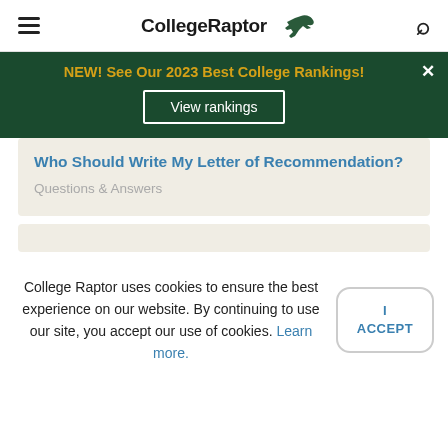CollegeRaptor
NEW! See Our 2023 Best College Rankings!
View rankings
Who Should Write My Letter of Recommendation?
Questions & Answers
College Raptor uses cookies to ensure the best experience on our website. By continuing to use our site, you accept our use of cookies. Learn more.
I ACCEPT